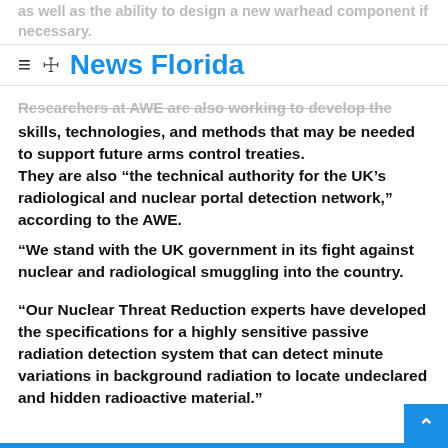as well as the ability to design a new warhead component if necessary.
News Florida
Researchers at AWE are also working to develop the skills, technologies, and methods that may be needed to support future arms control treaties.
They are also “the technical authority for the UK’s radiological and nuclear portal detection network,” according to the AWE.
“We stand with the UK government in its fight against nuclear and radiological smuggling into the country.
“Our Nuclear Threat Reduction experts have developed the specifications for a highly sensitive passive radiation detection system that can detect minute variations in background radiation to locate undeclared and hidden radioactive material.”